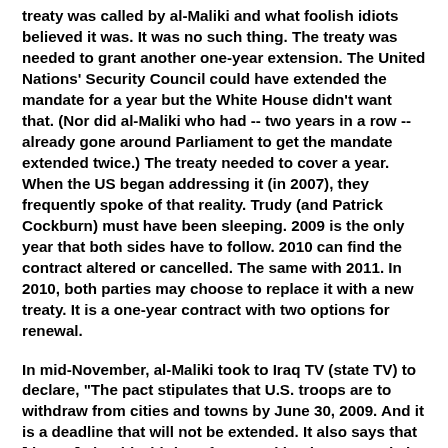treaty was called by al-Maliki and what foolish idiots believed it was. It was no such thing. The treaty was needed to grant another one-year extension. The United Nations' Security Council could have extended the mandate for a year but the White House didn't want that. (Nor did al-Maliki who had -- two years in a row -- already gone around Parliament to get the mandate extended twice.) The treaty needed to cover a year. When the US began addressing it (in 2007), they frequently spoke of that reality. Trudy (and Patrick Cockburn) must have been sleeping. 2009 is the only year that both sides have to follow. 2010 can find the contract altered or cancelled. The same with 2011. In 2010, both parties may choose to replace it with a new treaty. It is a one-year contract with two options for renewal.
In mid-November, al-Maliki took to Iraq TV (state TV) to declare, "The pact stipulates that U.S. troops are to withdraw from cities and towns by June 30, 2009. And it is a deadline that will not be extended. It also says that [the US] should withdraw from Iraqi land, water and air